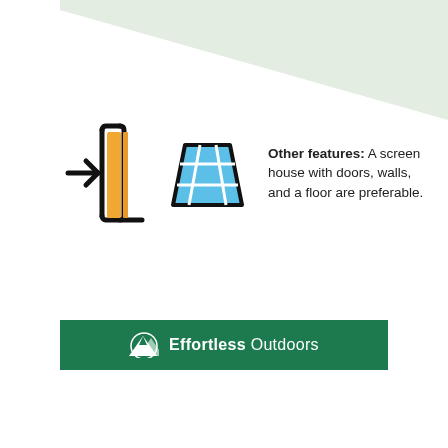[Figure (illustration): Light sage green diagonal background shape in the upper portion of the page]
[Figure (illustration): Door icon (orange door with black outline and arrow pointing into it) and a solar panel / window grid icon (blue trapezoid with grid lines)]
Other features: A screen house with doors, walls, and a floor are preferable.
[Figure (logo): Effortless Outdoors logo on a dark green banner — mountain icon in white with text 'Effortless Outdoors']